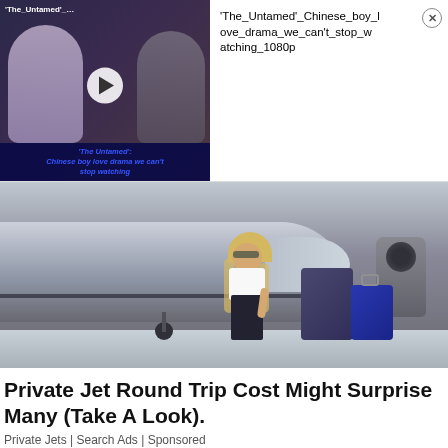[Figure (screenshot): Video thumbnail of 'The Untamed' Chinese boy love drama with label 'The_Untamed'_...' and play button overlay, showing two figures in dramatic scene with caption 'The Untamed: Chinese boy love drama we can't stop watching']
'The_Untamed'_Chinese_boy_love_drama_we_can't_stop_watching_1080p
[Figure (photo): A blonde woman in white crop top and dark leggings walking in front of a private jet in a hangar, pulling luggage]
Private Jet Round Trip Cost Might Surprise Many (Take A Look).
Private Jets | Search Ads | Sponsored